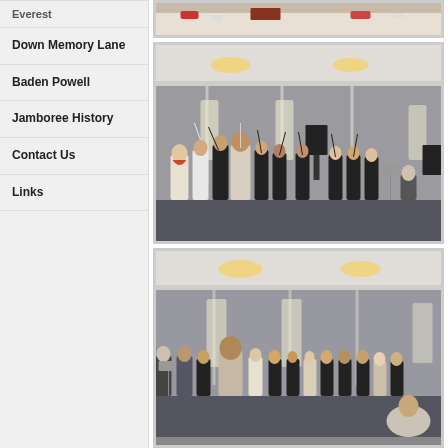Everest
Down Memory Lane
Baden Powell
Jamboree History
Contact Us
Links
[Figure (photo): Top partial photo showing a dining table setting with decorations, partially cropped at top]
[Figure (photo): Group of people performing or singing in a decorated ballroom/event hall with chandeliers and fairy lights, with a person in a scout uniform leading on the left. People have hands raised.]
[Figure (photo): Group of people standing and singing/performing in the same decorated event hall with chandeliers and fairy lights, wearing mostly black outfits.]